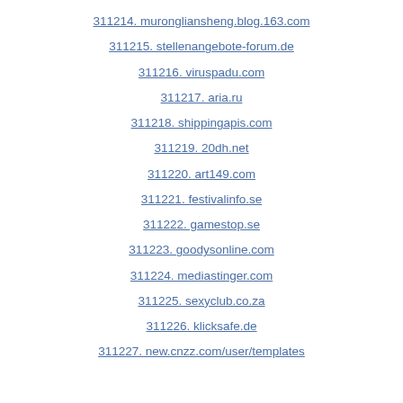311214. murongliansheng.blog.163.com
311215. stellenangebote-forum.de
311216. viruspadu.com
311217. aria.ru
311218. shippingapis.com
311219. 20dh.net
311220. art149.com
311221. festivalinfo.se
311222. gamestop.se
311223. goodysonline.com
311224. mediastinger.com
311225. sexyclub.co.za
311226. klicksafe.de
311227. new.cnzz.com/user/templates